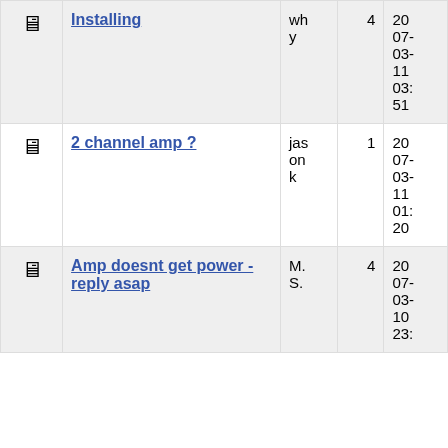|  | Topic | Author | Replies | Date |
| --- | --- | --- | --- | --- |
| [icon] | Installing | why | 4 | 2007-03-11 03:51 |
| [icon] | 2 channel amp ? | jason k | 1 | 2007-03-11 01:20 |
| [icon] | Amp doesnt get power - reply asap | M. S. | 4 | 2007-03-10 23: |